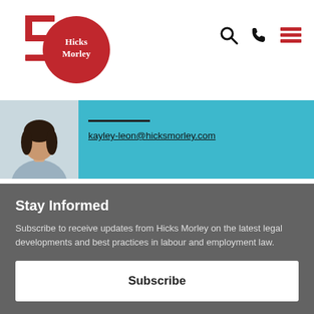[Figure (logo): Hicks Morley 50th anniversary logo — red '5' numeral and red circle with white 'Hicks Morley' text]
[Figure (other): Navigation icons: search (magnifying glass), phone handset, hamburger menu — top right of header]
[Figure (photo): Headshot photo of a professional woman with dark hair, on teal background contact strip]
kayley-leon@hicksmorley.com
Stay Informed
Subscribe to receive updates from Hicks Morley on the latest legal developments and best practices in labour and employment law.
Subscribe